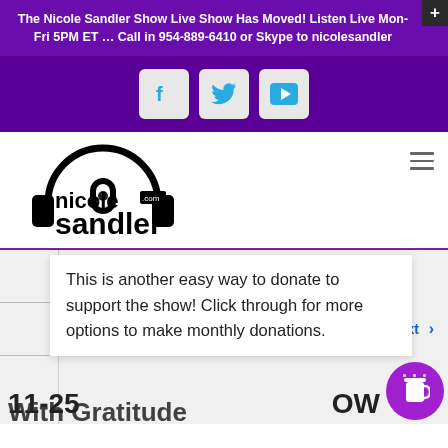The Nicole Sandler Show Live Show Has Moved! Listen Live Mon-Fri 5PM ET … Call in 954-889-6410 or Skype to nicolesandler
[Figure (screenshot): Social media icons: Facebook, Twitter, YouTube on purple background]
[Figure (logo): Nicole Sandler .com logo with headphones graphic]
This is another easy way to donate to support the show! Click through for more options to make monthly donations.
Next >
11-25
With Gratitude